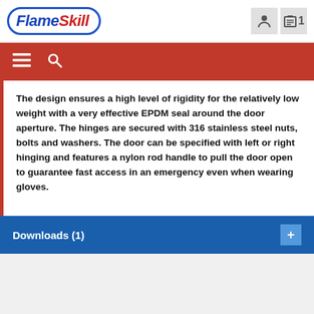FlameSkill
The design ensures a high level of rigidity for the relatively low weight with a very effective EPDM seal around the door aperture. The hinges are secured with 316 stainless steel nuts, bolts and washers. The door can be specified with left or right hinging and features a nylon rod handle to pull the door open to guarantee fast access in an emergency even when wearing gloves.
Downloads (1)